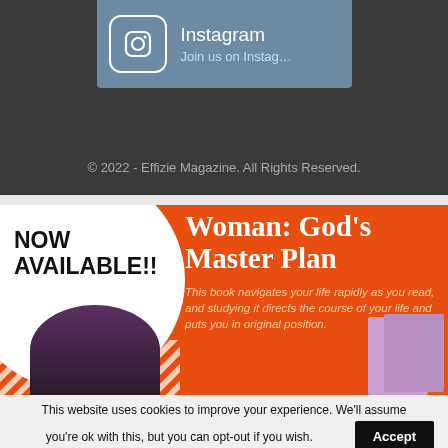[Figure (screenshot): Instagram social link card with camera icon, 'Instagram' label, and 'Join us on Instag...' subtext on a blue-gray background]
© 2022 - Effizie Magazine. All Rights Reserved.
[Figure (infographic): Orange advertisement banner for book 'Woman: God's Master Plan' with NOW AVAILABLE!! text in white circle on left and book description on right]
This website uses cookies to improve your experience. We'll assume you're ok with this, but you can opt-out if you wish.
Accept
Read More